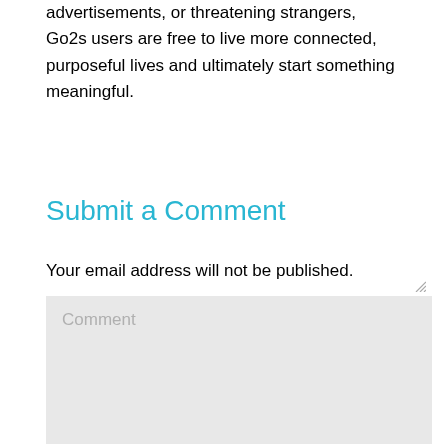advertisements, or threatening strangers, Go2s users are free to live more connected, purposeful lives and ultimately start something meaningful.
Submit a Comment
Your email address will not be published.
Comment